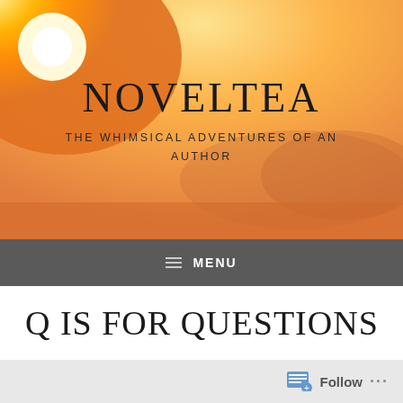[Figure (illustration): Blog header image showing a warm orange/yellow sunset sky with a bright sun in the upper left and silhouette of landscape. Contains the blog title NOVELTEA and subtitle THE WHIMSICAL ADVENTURES OF AN AUTHOR overlaid on the image.]
NOVELTEA
THE WHIMSICAL ADVENTURES OF AN AUTHOR
≡ MENU
Q IS FOR QUESTIONS
Follow ...